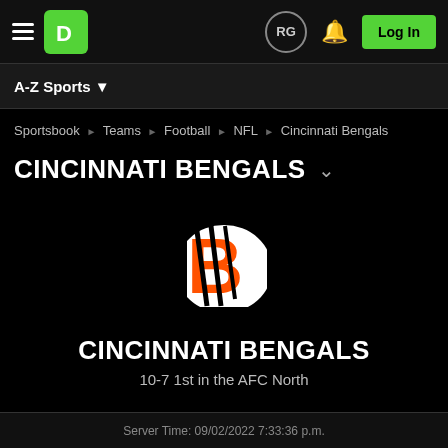DraftKings Sportsbook navigation bar with A-Z Sports menu
Sportsbook › Teams › Football › NFL › Cincinnati Bengals
CINCINNATI BENGALS
[Figure (logo): Cincinnati Bengals helmet logo — orange B with black tiger stripes on white background]
CINCINNATI BENGALS
10-7 1st in the AFC North
Server Time: 09/02/2022 7:33:36 p.m.